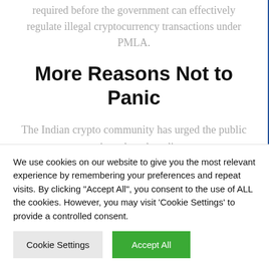required before the government can effectively regulate illegal cryptocurrency transactions under PMLA.
More Reasons Not to Panic
The Indian crypto community has urged the public not to panic and read media reports
We use cookies on our website to give you the most relevant experience by remembering your preferences and repeat visits. By clicking "Accept All", you consent to the use of ALL the cookies. However, you may visit 'Cookie Settings' to provide a controlled consent.